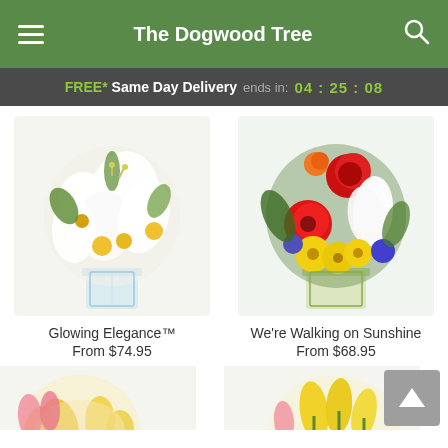The Dogwood Tree
FREE* Same Day Delivery ends in: 04:25:08
[Figure (photo): White floral arrangement with white lilies and yellow flowers in a clear glass vase]
Glowing Elegance™
From $74.95
[Figure (photo): Colorful floral arrangement with red roses, red gerbera daisies, yellow daisies, white lilies and purple flowers in a clear glass vase]
We're Walking on Sunshine
From $68.95
[Figure (photo): Partial view of floral arrangement at bottom left, cut off]
[Figure (photo): Partial view of floral arrangement with yellow tulips at bottom right, cut off]